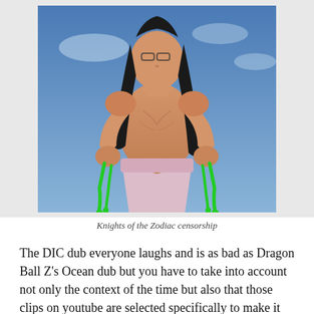[Figure (illustration): Anime illustration of a muscular male character with long black hair, shirtless, wearing light purple pants, with green liquid dripping from his hands. Background is blue sky. This appears to be a censored version from Knights of the Zodiac.]
Knights of the Zodiac censorship
The DIC dub everyone laughs and is as bad as Dragon Ball Z's Ocean dub but you have to take into account not only the context of the time but also that those clips on youtube are selected specifically to make it look the worst it can be. Here you have a small promotional segment with the theme song